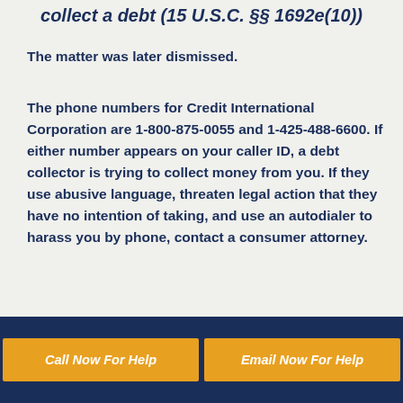collect a debt (15 U.S.C. §§ 1692e(10))
The matter was later dismissed.
The phone numbers for Credit International Corporation are 1-800-875-0055 and 1-425-488-6600. If either number appears on your caller ID, a debt collector is trying to collect money from you. If they use abusive language, threaten legal action that they have no intention of taking, and use an autodialer to harass you by phone, contact a consumer attorney.
Such behavior is illegal under the FDCPA, and you could be
Call Now For Help | Email Now For Help